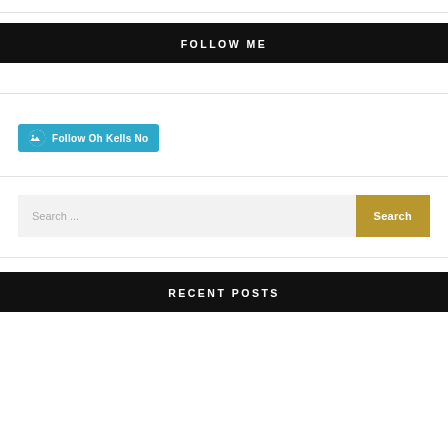FOLLOW ME
[Figure (other): WordPress follow button: Follow Oh Kells No]
Search ...
RECENT POSTS